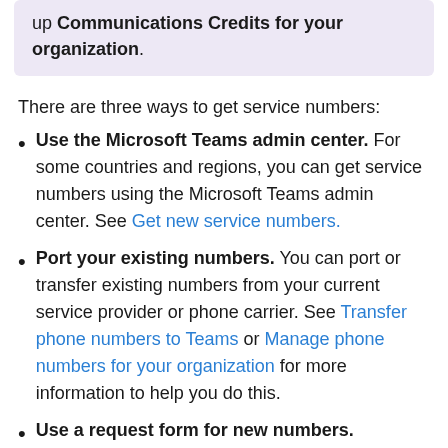up Communications Credits for your organization.
There are three ways to get service numbers:
Use the Microsoft Teams admin center. For some countries and regions, you can get service numbers using the Microsoft Teams admin center. See Get new service numbers.
Port your existing numbers. You can port or transfer existing numbers from your current service provider or phone carrier. See Transfer phone numbers to Teams or Manage phone numbers for your organization for more information to help you do this.
Use a request form for new numbers. Sometimes (depending on your country or region) you won't be able to get your new phone numbers using the Microsoft Teams admin center, or you'll need specific